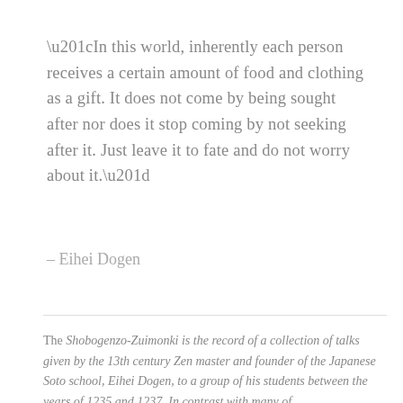“In this world, inherently each person receives a certain amount of food and clothing as a gift. It does not come by being sought after nor does it stop coming by not seeking after it. Just leave it to fate and do not worry about it.”
– Eihei Dogen
The Shobogenzo-Zuimonki is the record of a collection of talks given by the 13th century Zen master and founder of the Japanese Soto school, Eihei Dogen, to a group of his students between the years of 1235 and 1237. In contrast with many of